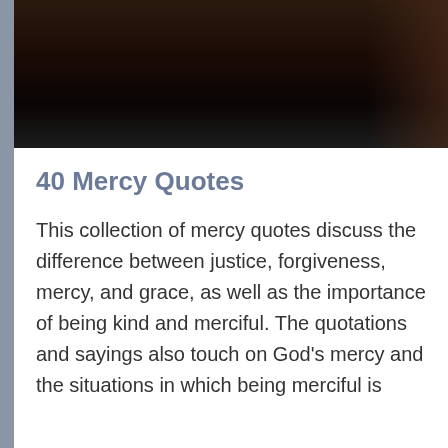[Figure (photo): Dark photo showing hands against a dark background, cropped at the top of the page]
40 Mercy Quotes
This collection of mercy quotes discuss the difference between justice, forgiveness, mercy, and grace, as well as the importance of being kind and merciful. The quotations and sayings also touch on God's mercy and the situations in which being merciful is